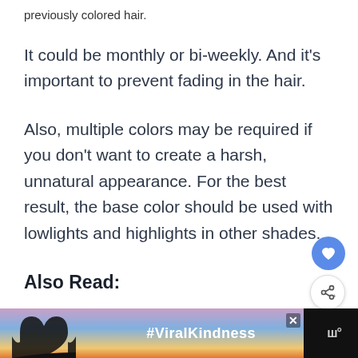previously colored hair.
It could be monthly or bi-weekly. And it's important to prevent fading in the hair.
Also, multiple colors may be required if you don't want to create a harsh, unnatural appearance. For the best result, the base color should be used with lowlights and highlights in other shades.
Also Read:
[Figure (screenshot): Advertisement banner with dark background showing a heart-shaped hand silhouette against a sunset sky, #ViralKindness text, and a media logo on the right. An X close button is visible.]